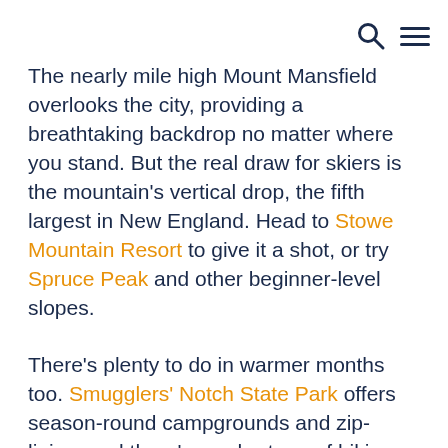[search icon] [menu icon]
The nearly mile high Mount Mansfield overlooks the city, providing a breathtaking backdrop no matter where you stand. But the real draw for skiers is the mountain's vertical drop, the fifth largest in New England. Head to Stowe Mountain Resort to give it a shot, or try Spruce Peak and other beginner-level slopes.
There's plenty to do in warmer months too. Smugglers' Notch State Park offers season-round campgrounds and zip-lining, and there's no shortage of hiking paths and waterfalls. Stowe is also the top-rated golf city on our list of domestic